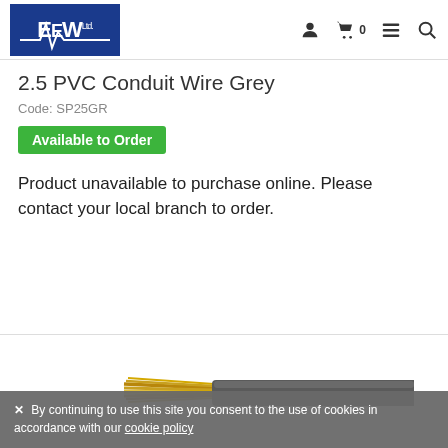EEW Ltd. — navigation header with logo, user icon, cart (0), menu, search
2.5 PVC Conduit Wire Grey
Code: SP25GR
Available to Order
Product unavailable to purchase online. Please contact your local branch to order.
[Figure (photo): Grey PVC conduit wire with exposed copper strands at one end, shown against a white background.]
✕ By continuing to use this site you consent to the use of cookies in accordance with our cookie policy